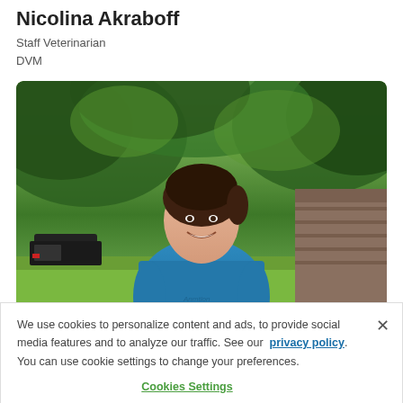Nicolina Akraboff
Staff Veterinarian
DVM
[Figure (photo): Photo of Nicolina Akraboff, a woman wearing a blue t-shirt smiling, standing outdoors in front of green trees and a wooden building structure. A black truck is visible in the background left.]
We use cookies to personalize content and ads, to provide social media features and to analyze our traffic. See our privacy policy. You can use cookie settings to change your preferences.
Cookies Settings